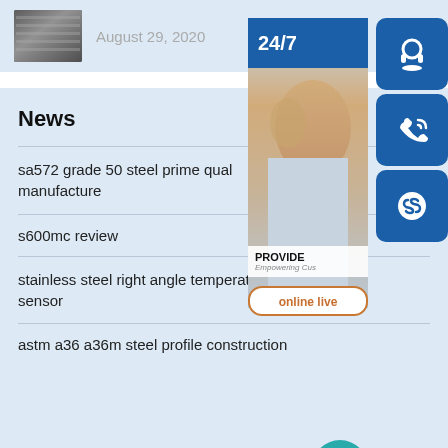August 29, 2020
[Figure (photo): Small thumbnail photo of steel/metal material]
[Figure (photo): Customer service representative with headset, 24/7 support widget with phone and Skype icons, 'online live' button]
News
sa572 grade 50 steel prime qual manufacture
s600mc review
stainless steel right angle temperature sensor
astm a36 a36m steel profile construction